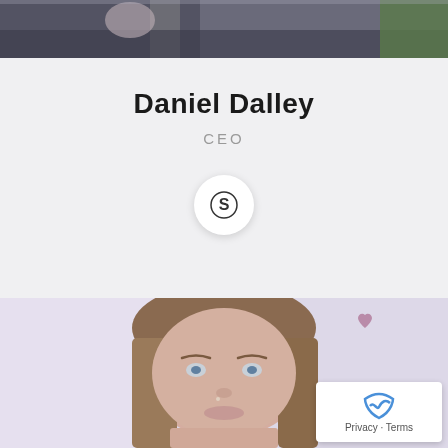[Figure (photo): Top portion of a photo showing a person from neck/shoulders down, outdoors on a road/path with green grass visible]
Daniel Dalley
CEO
[Figure (logo): Skype icon button - circular white button with Skype S logo]
[Figure (photo): Portrait photo of a young woman with long straight brown/blonde hair, looking at camera, with a heart decoration visible in background]
Privacy · Terms